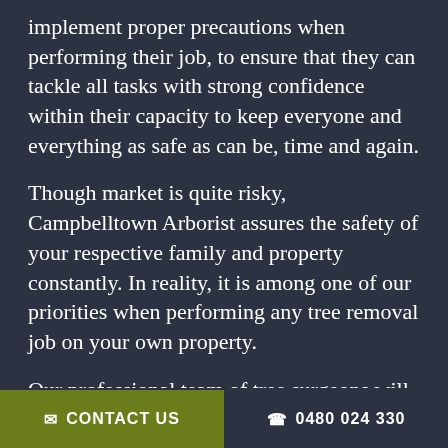implement proper precautions when performing their job, to ensure that they can tackle all tasks with strong confidence within their capacity to keep everyone and everything as safe as can be, time and again.
Though market is quite risky, Campbelltown Arborist assures the safety of your respective family and property constantly. In reality, it is among one of our priorities when performing any tree removal job on your own property.
Our professional team of tree surgeons will set your brain at ease and talk you through any safety issues you may be having. We are going to communicate with you about how we intend handling your Campbelltown task. You will end up 100% satisfied with our process as soon as we finish explaining our process. We will be clean
✉ CONTACT US    ☎ 0480 024 330